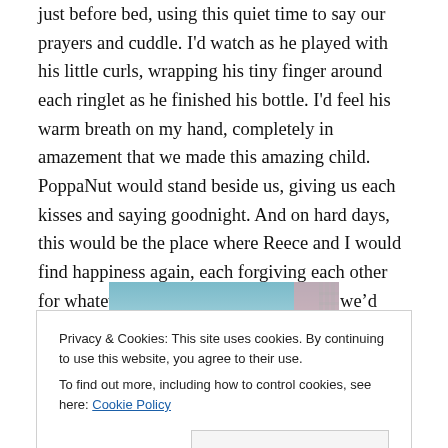just before bed, using this quiet time to say our prayers and cuddle. I'd watch as he played with his little curls, wrapping his tiny finger around each ringlet as he finished his bottle. I'd feel his warm breath on my hand, completely in amazement that we made this amazing child. PoppaNut would stand beside us, giving us each kisses and saying goodnight. And on hard days, this would be the place where Reece and I would find happiness again, each forgiving each other for whatever “mistakes” we’d made and we’d promise to do better tomorrow.
[Figure (photo): Partial photo visible behind cookie banner, appears to show a child with blue/teal background]
Privacy & Cookies: This site uses cookies. By continuing to use this website, you agree to their use.
To find out more, including how to control cookies, see here: Cookie Policy
Close and accept